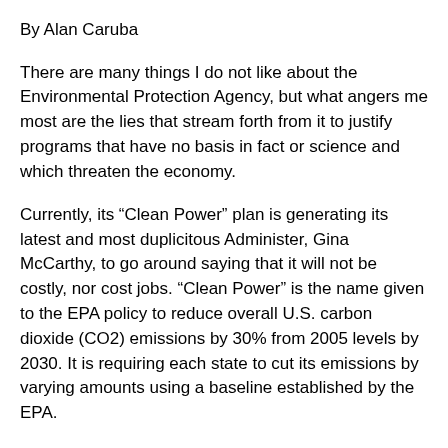By Alan Caruba
There are many things I do not like about the Environmental Protection Agency, but what angers me most are the lies that stream forth from it to justify programs that have no basis in fact or science and which threaten the economy.
Currently, its “Clean Power” plan is generating its latest and most duplicitous Administer, Gina McCarthy, to go around saying that it will not be costly, nor cost jobs. “Clean Power” is the name given to the EPA policy to reduce overall U.S. carbon dioxide (CO2) emissions by 30% from 2005 levels by 2030. It is requiring each state to cut its emissions by varying amounts using a baseline established by the EPA.
Simply said, there is no need whatever to reduce CO2 emissions. Carbon dioxide is not “a pollutant” as the EPA claims. It is, along with oxygen for all living creatures, vital to the growth of all vegetation. The more CO2 the better crops yields will occur, healthier forests, and greener lawns. From a purely scientific point of view, it is absurd to reduce